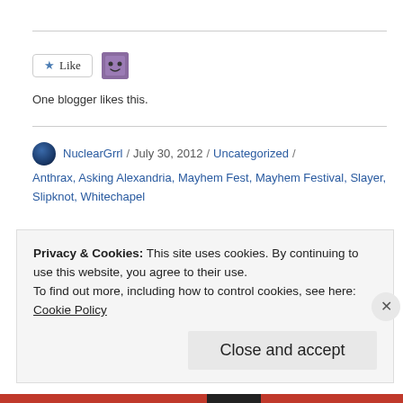[Figure (other): Like button with star icon and a purple avatar icon next to it]
One blogger likes this.
NuclearGrrl / July 30, 2012 / Uncategorized / Anthrax, Asking Alexandria, Mayhem Fest, Mayhem Festival, Slayer, Slipknot, Whitechapel
Cast Iron Joe Stands No
Privacy & Cookies: This site uses cookies. By continuing to use this website, you agree to their use.
To find out more, including how to control cookies, see here:
Cookie Policy
Close and accept